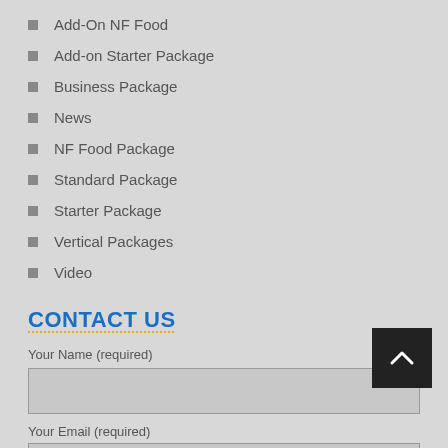Add-On NF Food
Add-on Starter Package
Business Package
News
NF Food Package
Standard Package
Starter Package
Vertical Packages
Video
CONTACT US
Your Name (required)
Your Email (required)